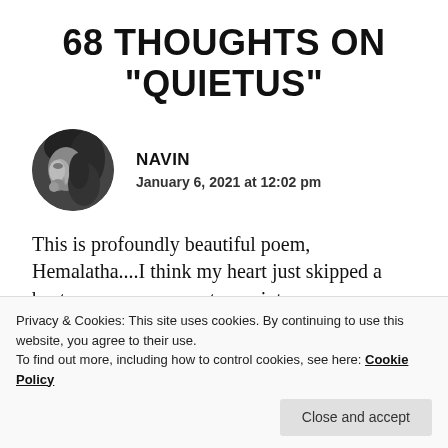68 THOUGHTS ON “QUIETUS”
[Figure (photo): Circular avatar photo of a person in black and white, showing a side/profile view of a face with hair, dark tones]
NAVIN
January 6, 2021 at 12:02 pm
This is profoundly beautiful poem, Hemalatha....I think my heart just skipped a beat....your poem creates an intense imagery....true, body turns into ashes / become one with different elements... but
Privacy & Cookies: This site uses cookies. By continuing to use this website, you agree to their use.
To find out more, including how to control cookies, see here: Cookie Policy
Close and accept